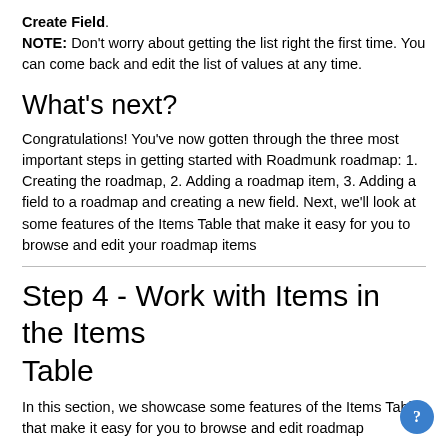Create Field. NOTE: Don't worry about getting the list right the first time. You can come back and edit the list of values at any time.
What's next?
Congratulations! You've now gotten through the three most important steps in getting started with Roadmunk roadmap: 1. Creating the roadmap, 2. Adding a roadmap item, 3. Adding a field to a roadmap and creating a new field. Next, we'll look at some features of the Items Table that make it easy for you to browse and edit your roadmap items
Step 4 - Work with Items in the Items Table
In this section, we showcase some features of the Items Table that make it easy for you to browse and edit roadmap